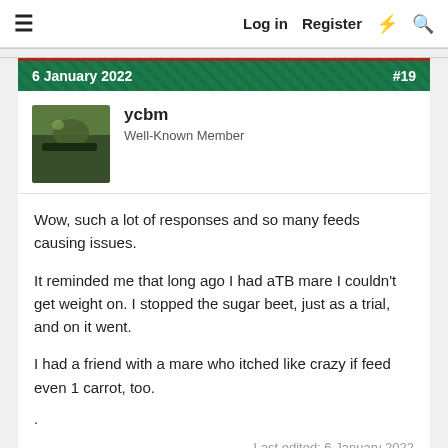≡   Log in   Register   ⚡   🔍
6 January 2022   #19
ycbm
Well-Known Member
Wow, such a lot of responses and so many feeds causing issues.

It reminded me that long ago I had aTB mare I couldn't get weight on. I stopped the sugar beet, just as a trial, and on it went.

I had a friend with a mare who itched like crazy if feed even 1 carrot, too.
.
Last edited: 6 January 2022
👍 onemoretime and YorksG
6 January 2022   #20